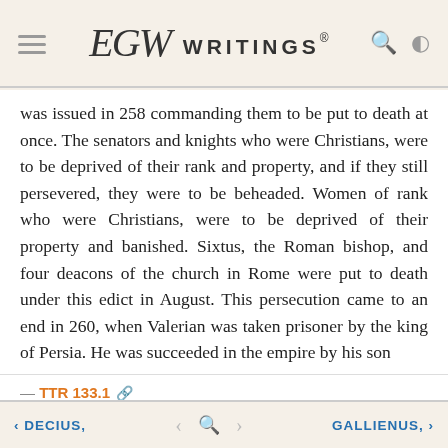EGW WRITINGS®
was issued in 258 commanding them to be put to death at once. The senators and knights who were Christians, were to be deprived of their rank and property, and if they still persevered, they were to be beheaded. Women of rank who were Christians, were to be deprived of their property and banished. Sixtus, the Roman bishop, and four deacons of the church in Rome were put to death under this edict in August. This persecution came to an end in 260, when Valerian was taken prisoner by the king of Persia. He was succeeded in the empire by his son
— TTR 133.1
< DECIUS,    < 🔍 >    GALLIENUS, >